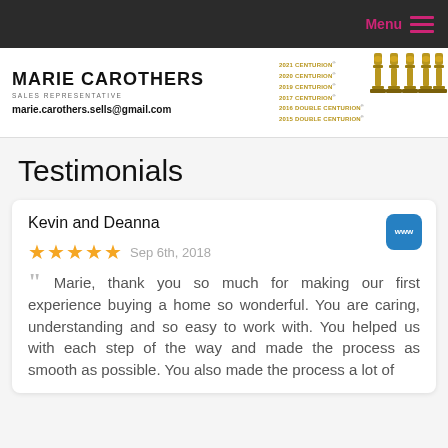Menu
[Figure (logo): Marie Carothers Sales Representative header banner with awards: 2021 Centurion, 2020 Centurion, 2019 Centurion, 2017 Centurion, 2016 Double Centurion, 2015 Double Centurion, with trophy statuettes]
Testimonials
Kevin and Deanna
Sep 6th, 2018
Marie, thank you so much for making our first experience buying a home so wonderful. You are caring, understanding and so easy to work with. You helped us with each step of the way and made the process as smooth as possible. You also made the process a lot of